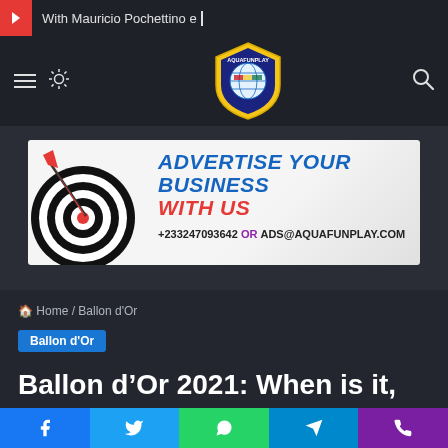With Mauricio Pochettino e_
[Figure (logo): AquaFunPlay logo - shield with globe and Ghana flag colors]
[Figure (infographic): Advertisement banner: ADVERTISE YOUR BUSINESS WITH US +233247093642 OR ADS@AQUAFUNPLAY.COM]
Home / Ballon d'Or
Ballon d'Or
Ballon d'Or 2021: When is it,